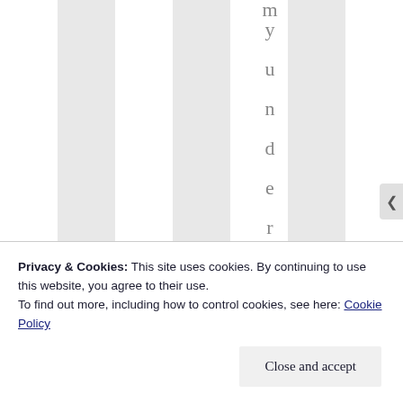[Figure (other): Decorative striped background with vertical alternating white and light-gray columns. A vertically oriented word 'myunderstand' is displayed character by character down the center-right column area in gray serif font.]
Privacy & Cookies: This site uses cookies. By continuing to use this website, you agree to their use.
To find out more, including how to control cookies, see here: Cookie Policy
Close and accept